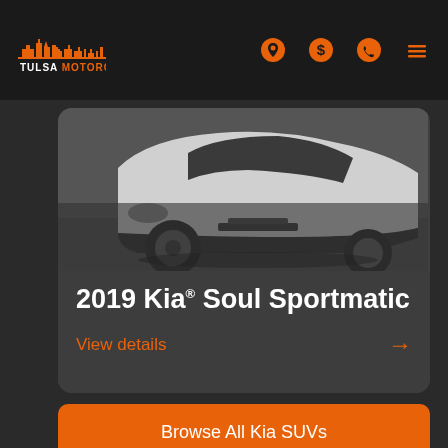[Figure (logo): Tulsa Motorcars logo with city skyline silhouette in orange and white text]
Tulsa Motorcars navigation bar with location, dollar, phone, and menu icons
[Figure (photo): Front/side view of a white 2019 Kia Soul Sportmatic, grayscale photo showing front bumper and wheel]
2019 Kia® Soul Sportmatic
View details →
Browse All Kia SUVs
Meet your trusted